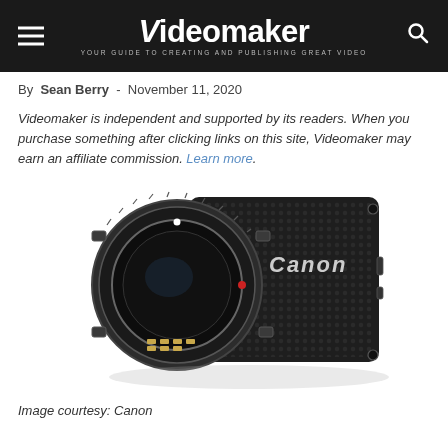Videomaker — YOUR GUIDE TO CREATING AND PUBLISHING GREAT VIDEO
By Sean Berry - November 11, 2020
Videomaker is independent and supported by its readers. When you purchase something after clicking links on this site, Videomaker may earn an affiliate commission. Learn more.
[Figure (photo): A Canon compact machine vision camera body with EF lens mount, no lens attached, showing the sensor and mount contacts. The black camera body has a textured pattern and Canon branding on the side.]
Image courtesy: Canon